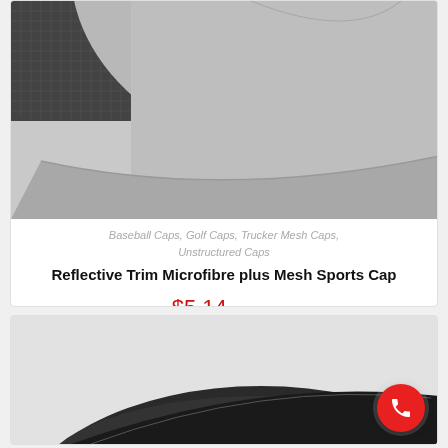[Figure (photo): Close-up photo of a grey microfibre and mesh sports cap, showing the brim and mesh panel against white background.]
Baseball Caps, Golf Caps, Trucker Mesh Caps, Unstructured Caps
Reflective Trim Microfibre plus Mesh Sports Cap
$5.14 ex GST
[Figure (photo): Photo of a dark/black sports cap, partially visible, with a red phone call button overlay in the bottom right corner.]